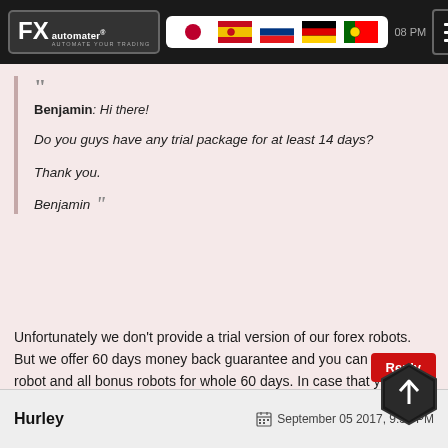WallStreet 2.0 Evolution - FX Automater - Automate Your Trading
Benjamin: Hi there!

Do you guys have any trial package for at least 14 days?

Thank you.

Benjamin
Unfortunately we don't provide a trial version of our forex robots. But we offer 60 days money back guarantee and you can test the robot and all bonus robots for whole 60 days. In case that you don't like the robot we will return your money as promised.
Hurley   September 05 2017, 9:36 PM